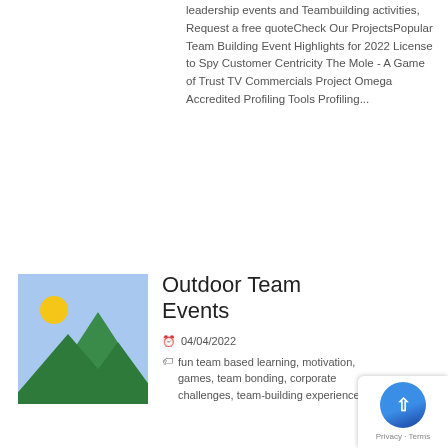leadership events and Teambuilding activities, Request a free quoteCheck Our ProjectsPopular Team Building Event Highlights for 2022 License to Spy Customer Centricity The Mole - A Game of Trust TV Commercials Project Omega Accredited Profiling Tools Profiling...
[Figure (illustration): Placeholder image showing green mountains with a yellow sun on a light blue sky background]
Outdoor Team Events
04/04/2022
fun team based learning, motivation, games, team bonding, corporate challenges, team-building experiences, free...